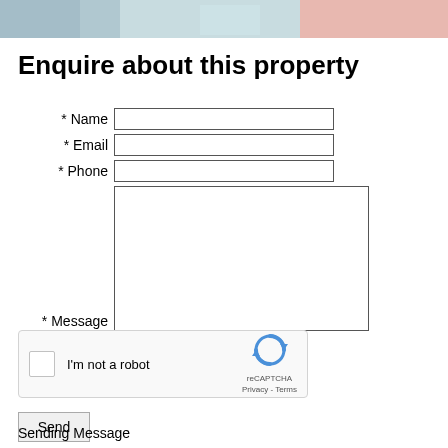[Figure (photo): Decorative banner image with colorful abstract or property-related background]
Enquire about this property
* Name [input field]
* Email [input field]
* Phone [input field]
* Message [textarea]
[Figure (screenshot): reCAPTCHA widget with checkbox labeled I'm not a robot, reCAPTCHA logo, Privacy and Terms links]
Send
Sending Message